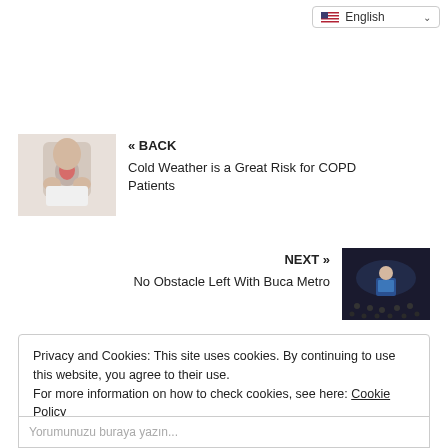[Figure (screenshot): Language selector dropdown showing English with US flag and chevron]
[Figure (photo): Person holding their throat/chest area with red highlight indicating pain, related to COPD article]
« BACK
Cold Weather is a Great Risk for COPD Patients
NEXT »
No Obstacle Left With Buca Metro
[Figure (photo): Speaker at a podium with audience in dark auditorium, related to Buca Metro article]
Privacy and Cookies: This site uses cookies. By continuing to use this website, you agree to their use.
For more information on how to check cookies, see here: Cookie Policy
OK
Yorumunuzu buraya yazın...